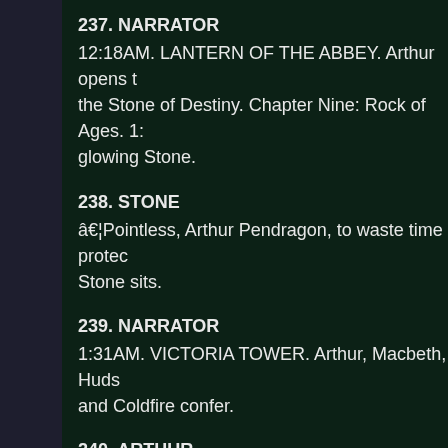237. NARRATOR
12:18AM. LANTERN OF THE ABBEY. Arthur opens the Stone of Destiny. Chapter Nine: Rock of Ages. 1: glowing Stone.
238. STONE
…Pointless, Arthur Pendragon, to waste time protec
Stone sits.
239. NARRATOR
1:31AM. VICTORIA TOWER. Arthur, Macbeth, Hudson and Coldfire confer.
240. ARTHUR
Perhaps… perhaps this is all unnecessary. I don't
Macbeth, Arthur, Hudson, Lexington, Amp, Coco, Gri Coldsteel & Coyote STAND.
241. NARRATOR
NOVEMBER 15, 6:16AM. LEITH. Coyote and Coldst warehouse.